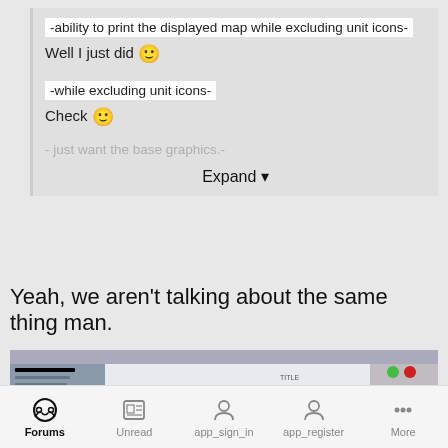-ability to print the displayed map while excluding unit icons-
Well I just did 🙂
-while excluding unit icons-
Check 🙂
- just want the base graphics.-
Expand ▾
Yeah, we aren't talking about the same thing man.
[Figure (screenshot): Screenshot of a web-based map application showing geographic terrain with blue route lines and map interface elements including a sidebar panel on the left and control buttons on the right.]
Forums | Unread | app_sign_in | app_register | More